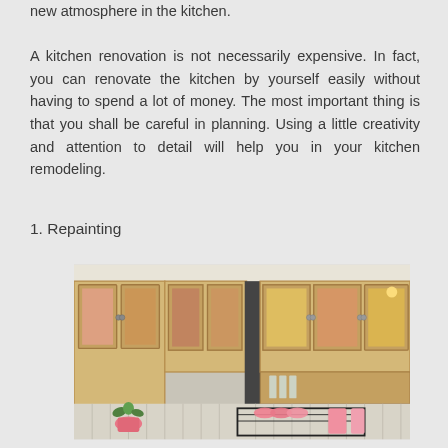new atmosphere in the kitchen.
A kitchen renovation is not necessarily expensive. In fact, you can renovate the kitchen by yourself easily without having to spend a lot of money. The most important thing is that you shall be careful in planning. Using a little creativity and attention to detail will help you in your kitchen remodeling.
1. Repainting
[Figure (photo): Kitchen cabinets with glass panel doors in natural wood finish, showing pink and colorful kitchenware inside. Below the upper cabinets are countertop items including pink dishes, plants in pink pots, and kitchen utensils.]